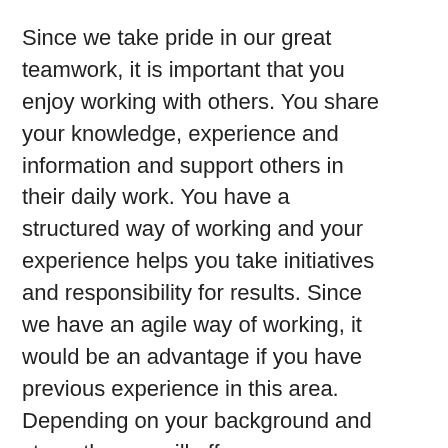Since we take pride in our great teamwork, it is important that you enjoy working with others. You share your knowledge, experience and information and support others in their daily work. You have a structured way of working and your experience helps you take initiatives and responsibility for results. Since we have an agile way of working, it would be an advantage if you have previous experience in this area. Depending on your background and strengths, we will offer you a possibility of working with a variety of tasks.
You have a Masters or Bachelor degree of Science in technology and you most likely have a background in software and system development. You have experience in C# and .Net framework from your studies and/or previous work.
It is an advantage if you have experience in: